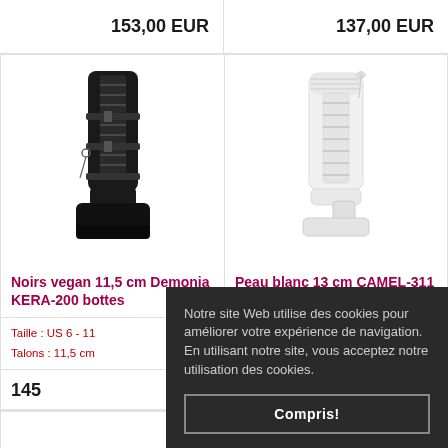153,00 EUR
137,00 EUR
[Figure (photo): Black platform knee-high boots with laces and buckle straps, Demonia KERA-200]
[Figure (photo): White chunky platform knee-high boots with lace-up detailing and fur trim, CAMEL-311]
Noirs vegan 11,5 cm Demonia KERA-200 bottes
Peau blanc 13 cm CAMEL-311 bottes plateforme chunky
Taille : US 6 - 11
Talons : 11,5 cm
145
Notre site Web utilise des cookies pour améliorer votre expérience de navigation. En utilisant notre site, vous acceptez notre utilisation des cookies.
Compris!